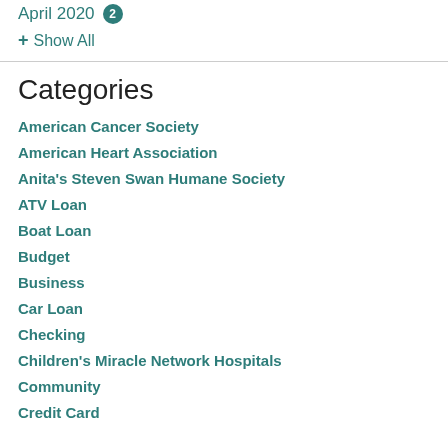April 2020 2
+ Show All
Categories
American Cancer Society
American Heart Association
Anita's Steven Swan Humane Society
ATV Loan
Boat Loan
Budget
Business
Car Loan
Checking
Children's Miracle Network Hospitals
Community
Credit Card